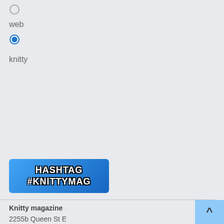web
knitty
[Figure (other): Blue banner graphic with white outlined bold text reading HASHTAG #KNITTYMAG]
Knitty magazine
2255b Queen St E
Box 527
Toronto, ON
M4E 1G3
^